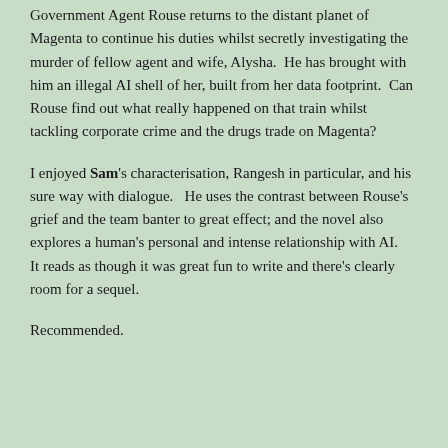Government Agent Rouse returns to the distant planet of Magenta to continue his duties whilst secretly investigating the murder of fellow agent and wife, Alysha.  He has brought with him an illegal AI shell of her, built from her data footprint.  Can Rouse find out what really happened on that train whilst tackling corporate crime and the drugs trade on Magenta?
I enjoyed Sam's characterisation, Rangesh in particular, and his sure way with dialogue.   He uses the contrast between Rouse's grief and the team banter to great effect; and the novel also explores a human's personal and intense relationship with AI.   It reads as though it was great fun to write and there's clearly room for a sequel.
Recommended.